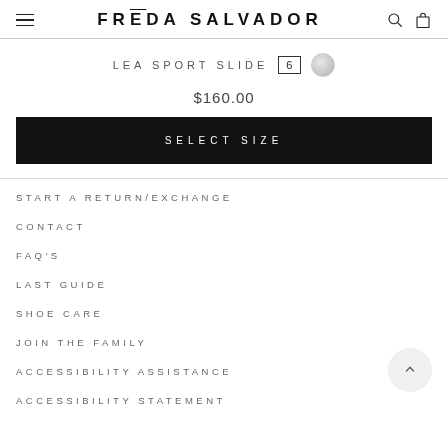FRĒDA SALVADOR
LEA SPORT SLIDE
$160.00
SELECT SIZE
START A RETURN/EXCHANGE
CONTACT
FAQ'S
LAST GUIDE
SHOE CARE
JOIN THE FAMILY
ACCESSIBILITY ASSISTANCE
ACCESSIBILITY STATEMENT